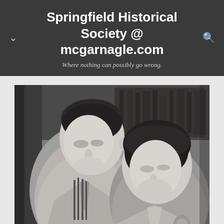Springfield Historical Society @ mcgarnagle.com
Where nothing can possibly go wrong.
[Figure (photo): Black and white photograph of a man and woman looking downward at something, possibly working together on a task. The man is on the left wearing a light-colored shirt, and the woman is on the right with curled hair. Bookshelves are visible in the background.]